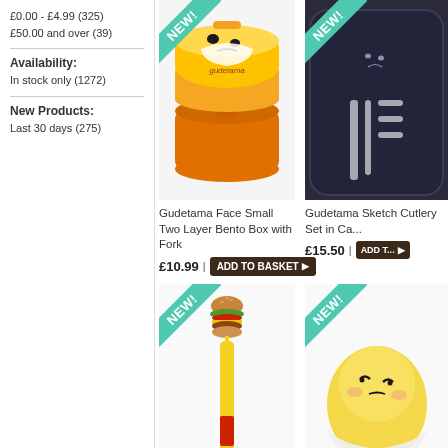£0.00 - £4.99 (325)
£50.00 and over (39)
Availability:
In stock only (1272)
New Products:
Last 30 days (275)
[Figure (photo): Gudetama Face Small Two Layer Bento Box with Fork - orange round bento box with Gudetama face lid, NEW! ribbon]
Gudetama Face Small Two Layer Bento Box with Fork
£10.99 | ADD TO BASKET
[Figure (photo): Gudetama Sketch Cutlery Set in Case - dark navy case with Gudetama illustrations, NEW! ribbon]
Gudetama Sketch Cutlery Set in Ca...
£15.50 | ADD T...
[Figure (photo): Novelty hamburger pen - pen with hamburger topper, yellow body with red accent, NEW! ribbon]
[Figure (photo): Gudetama plush bag/accessory - yellow Gudetama character plush, NEW! ribbon]